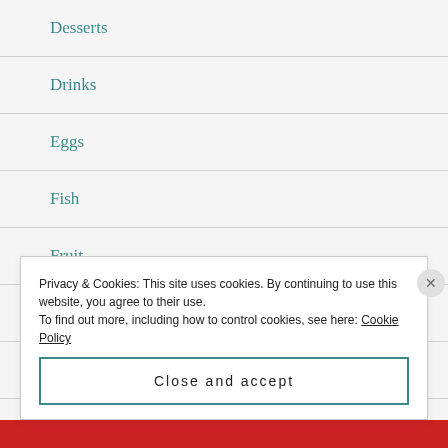Desserts
Drinks
Eggs
Fish
Fruit
Grow Your Own
italian
Privacy & Cookies: This site uses cookies. By continuing to use this website, you agree to their use.
To find out more, including how to control cookies, see here: Cookie Policy
Close and accept